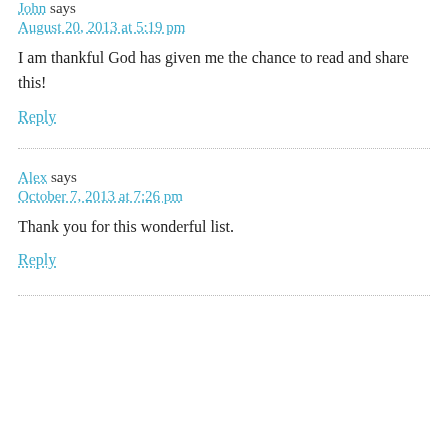John says
August 20, 2013 at 5:19 pm
I am thankful God has given me the chance to read and share this!
Reply
Alex says
October 7, 2013 at 7:26 pm
Thank you for this wonderful list.
Reply